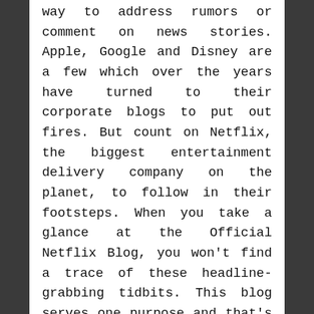way to address rumors or comment on news stories. Apple, Google and Disney are a few which over the years have turned to their corporate blogs to put out fires. But count on Netflix, the biggest entertainment delivery company on the planet, to follow in their footsteps. When you take a glance at the Official Netflix Blog, you won't find a trace of these headline-grabbing tidbits. This blog serves one purpose and that's to talk to Netflix customers about the new products and services the company offers. Period.
With this simple blogging mission statement, Netflix is free to showcase bright graphics and bold, friendly text. Posts cover things like new movies and shows to Netflix, ways to use Netflix on mobile devices and recent system updates. Just to keep things easy and not confusing, the